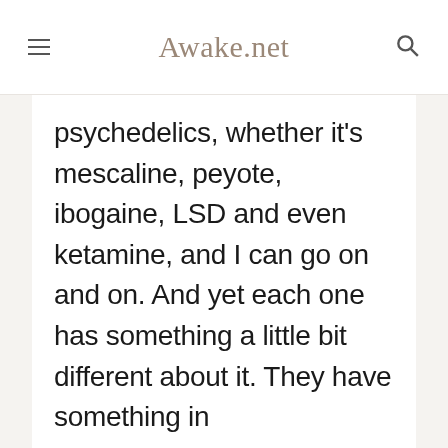Awake.net
psychedelics, whether it’s mescaline, peyote, ibogaine, LSD and even ketamine, and I can go on and on. And yet each one has something a little bit different about it. They have something in